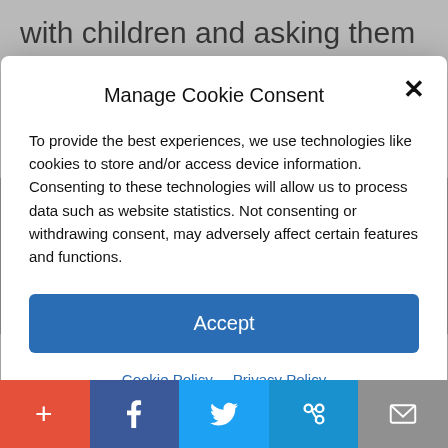with children and asking them to communicate when someone asks for photos or private information could save
Manage Cookie Consent
To provide the best experiences, we use technologies like cookies to store and/or access device information. Consenting to these technologies will allow us to process data such as website statistics. Not consenting or withdrawing consent, may adversely affect certain features and functions.
Accept
Cookie Policy   Privacy Policy
endorsement. Click here.